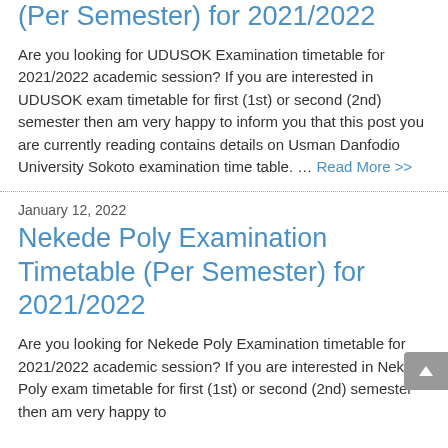(Per Semester) for 2021/2022
Are you looking for UDUSOK Examination timetable for 2021/2022 academic session? If you are interested in UDUSOK exam timetable for first (1st) or second (2nd) semester then am very happy to inform you that this post you are currently reading contains details on Usman Danfodio University Sokoto examination time table. … Read More >>
January 12, 2022
Nekede Poly Examination Timetable (Per Semester) for 2021/2022
Are you looking for Nekede Poly Examination timetable for 2021/2022 academic session? If you are interested in Nekede Poly exam timetable for first (1st) or second (2nd) semester then am very happy to